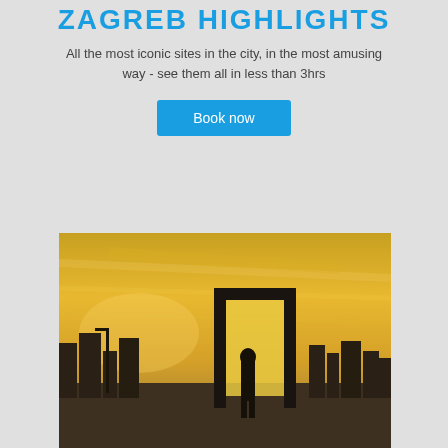ZAGREB HIGHLIGHTS
All the most iconic sites in the city, in the most amusing way - see them all in less than 3hrs
Book now
[Figure (photo): Silhouette of a person standing under a large rectangular frame/gate structure against a dramatic golden sunset sky, with city buildings visible in the background.]